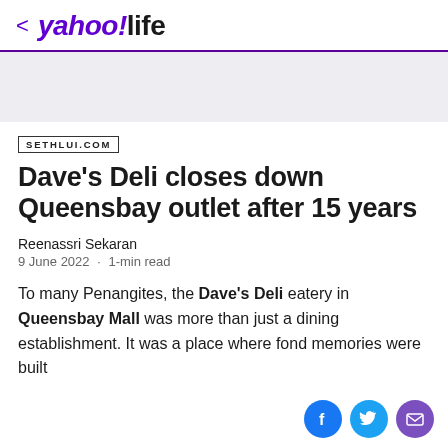< yahoo!life
[Figure (other): Gray advertisement placeholder banner]
SETHLUI.COM
Dave's Deli closes down Queensbay outlet after 15 years
Reenassri Sekaran
9 June 2022 · 1-min read
To many Penangites, the Dave's Deli eatery in Queensbay Mall was more than just a dining establishment. It was a place where fond memories were built...